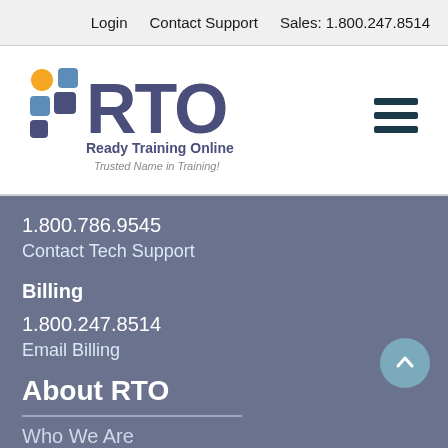Login   Contact Support   Sales: 1.800.247.8514
[Figure (logo): Ready Training Online (RTO) logo with colored squares and text 'Ready Training Online — Trusted Name in Training!']
1.800.786.9545
Contact Tech Support
Billing
1.800.247.8514
Email Billing
About RTO
Who We Are